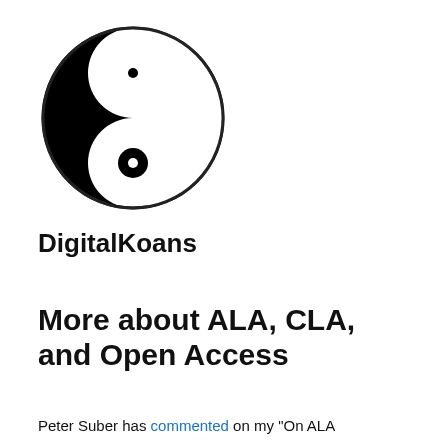[Figure (illustration): Yin-yang symbol (black and white circular symbol with two interlocking teardrop shapes, each containing a small circle of the opposite color)]
DigitalKoans
More about ALA, CLA, and Open Access
Peter Suber has commented on my "On ALA